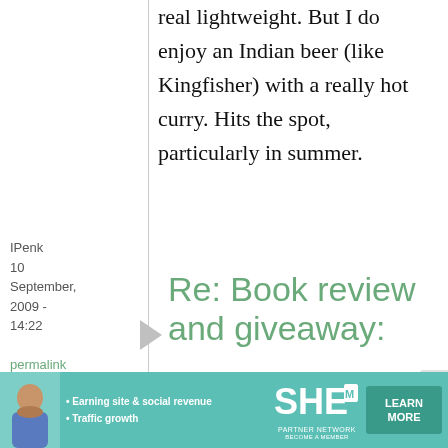real lightweight. But I do enjoy an Indian beer (like Kingfisher) with a really hot curry. Hits the spot, particularly in summer.
IPenk
10 September, 2009 - 14:22
permalink
Re: Book review and giveaway:
[Figure (infographic): SHE Media Partner Network advertisement banner with photo, bullet points about earning site & social revenue and traffic growth, SHE logo, and LEARN MORE button]